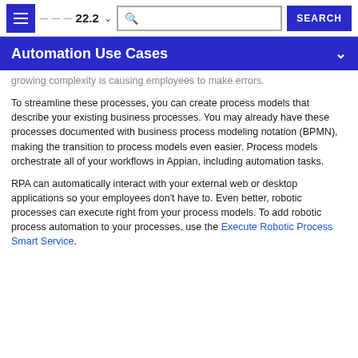22.2 | SEARCH
Automation Use Cases
growing complexity is causing employees to make errors.
To streamline these processes, you can create process models that describe your existing business processes. You may already have these processes documented with business process modeling notation (BPMN), making the transition to process models even easier. Process models orchestrate all of your workflows in Appian, including automation tasks.
RPA can automatically interact with your external web or desktop applications so your employees don't have to. Even better, robotic processes can execute right from your process models. To add robotic process automation to your processes, use the Execute Robotic Process Smart Service.